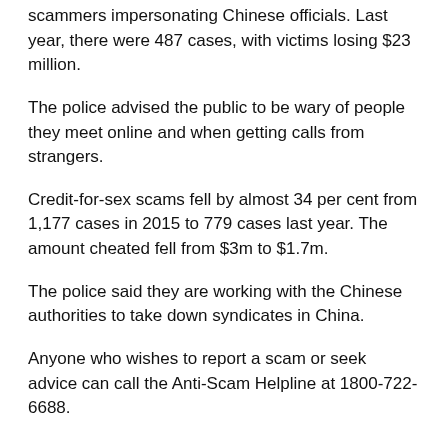scammers impersonating Chinese officials. Last year, there were 487 cases, with victims losing $23 million.
The police advised the public to be wary of people they meet online and when getting calls from strangers.
Credit-for-sex scams fell by almost 34 per cent from 1,177 cases in 2015 to 779 cases last year. The amount cheated fell from $3m to $1.7m.
The police said they are working with the Chinese authorities to take down syndicates in China.
Anyone who wishes to report a scam or seek advice can call the Anti-Scam Helpline at 1800-722-6688.
MORE ON
More cameras, new tech to help fight crime